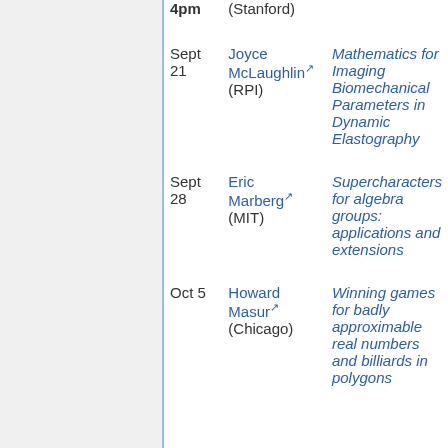| Date | Speaker | Talk |
| --- | --- | --- |
| 4pm | (Stanford) |  |
| Sept 21 | Joyce McLaughlin (RPI) | Mathematics for Imaging Biomechanical Parameters in Dynamic Elastography |
| Sept 28 | Eric Marberg (MIT) | Supercharacters for algebra groups: applications and extensions |
| Oct 5 | Howard Masur (Chicago) | Winning games for badly approximable real numbers and billiards in polygons |